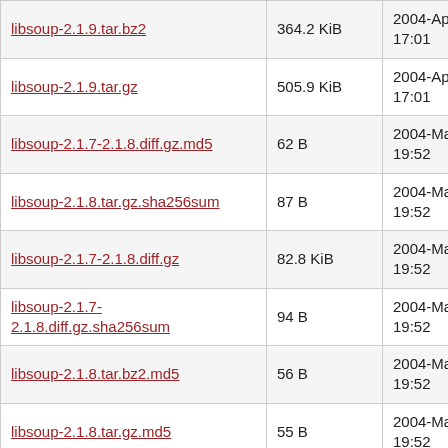| Filename | Size | Date |
| --- | --- | --- |
| libsoup-2.1.9.tar.bz2 | 364.2 KiB | 2004-Apr-05 17:01 |
| libsoup-2.1.9.tar.gz | 505.9 KiB | 2004-Apr-05 17:01 |
| libsoup-2.1.7-2.1.8.diff.gz.md5 | 62 B | 2004-Mar-05 19:52 |
| libsoup-2.1.8.tar.gz.sha256sum | 87 B | 2004-Mar-05 19:52 |
| libsoup-2.1.7-2.1.8.diff.gz | 82.8 KiB | 2004-Mar-05 19:52 |
| libsoup-2.1.7-2.1.8.diff.gz.sha256sum | 94 B | 2004-Mar-05 19:52 |
| libsoup-2.1.8.tar.bz2.md5 | 56 B | 2004-Mar-05 19:52 |
| libsoup-2.1.8.tar.gz.md5 | 55 B | 2004-Mar-05 19:52 |
| libsoup-2.1.8.tar.bz2.sha256sum | 88 B | 2004-Mar-05 19:52 |
| libsoup-2.1.8.tar.bz2 | 328.9 KiB | 2004-Mar-05 19:52 |
| libsoup-2.1.8.tar.gz | 440.9 KiB | 2004-Mar-05 19:52 |